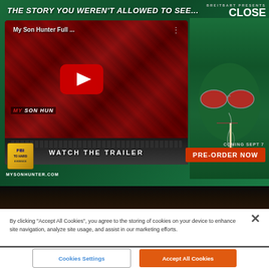[Figure (screenshot): Advertisement for 'My Son Hunter' film by Breitbart. Shows a YouTube video thumbnail of the film on a laptop with a red play button, next to a green-tinted image of a man with red sunglasses smoking. Text reads 'THE STORY YOU WEREN'T ALLOWED TO SEE...', 'WATCH THE TRAILER', 'COMING SEPT 7', 'PRE-ORDER NOW', 'MYSONHUNTER.COM']
By clicking “Accept All Cookies”, you agree to the storing of cookies on your device to enhance site navigation, analyze site usage, and assist in our marketing efforts.
Cookies Settings
Accept All Cookies